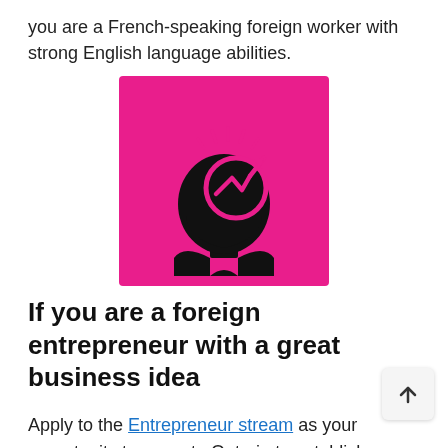you are a French-speaking foreign worker with strong English language abilities.
[Figure (illustration): Pink square icon with a black silhouette of a human head profile, featuring a glowing lightbulb/brain graphic with an upward-trending arrow, representing entrepreneurial thinking or business growth.]
If you are a foreign entrepreneur with a great business idea
Apply to the Entrepreneur stream as your opportunity to come to Ontario to establish a new business or buy and grow an existing business in the province. This stream operates through an Expression of Interest system. To qualify, you must register an expression of